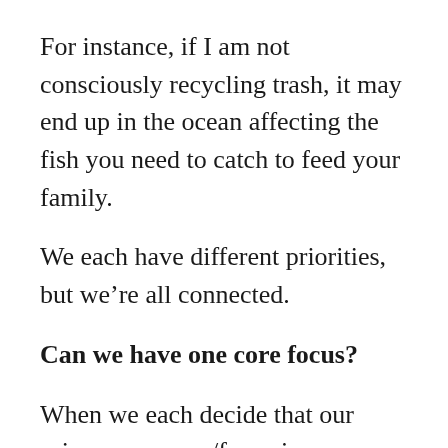For instance, if I am not consciously recycling trash, it may end up in the ocean affecting the fish you need to catch to feed your family.
We each have different priorities, but we're all connected.
Can we have one core focus?
When we each decide that our primary concern/focus is sustaining our planet for ourselves, for our children, for our descendants, then we immediately identify specific steps to take. No pesticides. No GMO